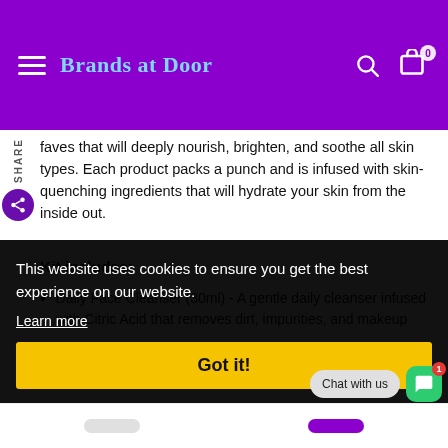Brands at Door
faves that will deeply nourish, brighten, and soothe all skin types. Each product packs a punch and is infused with skin-quenching ingredients that will hydrate your skin from the inside out.
Kit includes:
Daily Face Cleanser (30ml) - A gentle daily cleanser infused with Citric Acid that removes dirt, impurities, and makeup
This website uses cookies to ensure you get the best experience on our website.
Learn more
Got it!